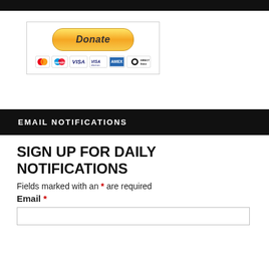[Figure (screenshot): PayPal Donate button with payment card logos (MasterCard, Maestro, Visa, Visa Electron, American Express, Direct Debit) inside a bordered box]
EMAIL NOTIFICATIONS
SIGN UP FOR DAILY NOTIFICATIONS
Fields marked with an * are required
Email *